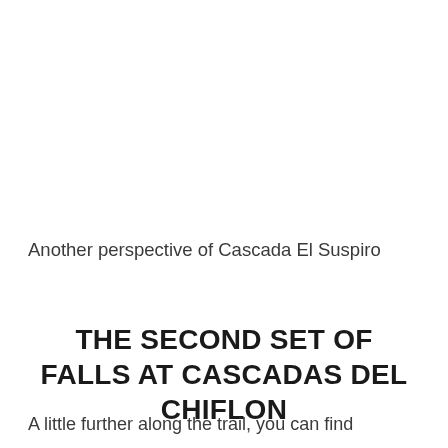Another perspective of Cascada El Suspiro
THE SECOND SET OF FALLS AT CASCADAS DEL CHIFLON
A little further along the trail, you can find